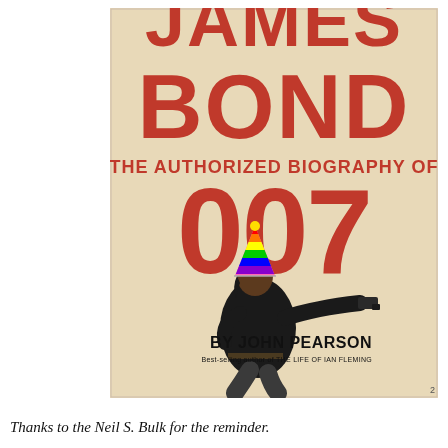[Figure (illustration): Book cover of 'James Bond: The Authorized Biography of 007' by John Pearson. The cover has a tan/beige background with large bold red text reading 'JAMES BOND' at the top, followed by 'THE AUTHORIZED BIOGRAPHY OF' in smaller red text, then '007' in large red numerals. Below is a photo of a man in a black outfit pointing a gun, wearing a colorful rainbow party hat. At the bottom right it reads 'BY JOHN PEARSON' in bold black text with 'Best-selling author of THE LIFE OF IAN FLEMING' below in smaller text.]
Thanks to the Neil S. Bulk for the reminder.